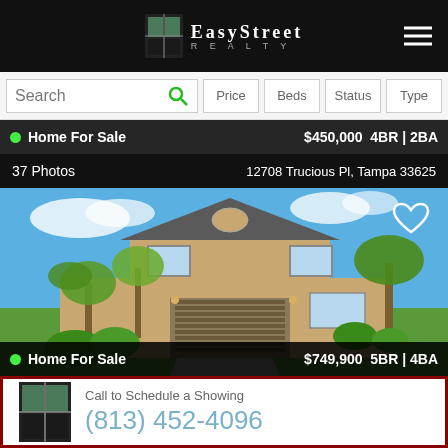EasyStreet Realty
Search | Price | Beds | Status | Type
Home For Sale  $450,000  4BR | 2BA
37 Photos  12708 Trucious Pl, Tampa 33625
[Figure (photo): Two-story beige stucco home with two-car garage, palm trees in front yard, blue sky background]
Home For Sale  $749,900  5BR | 4BA
Call to Schedule a Showing
(813) 452-4096